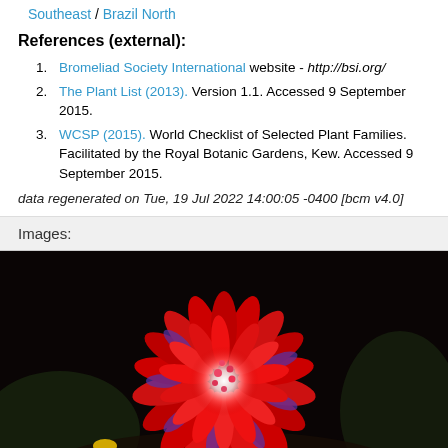Southeast / Brazil North
References (external):
Bromeliad Society International website - http://bsi.org/
The Plant List (2013). Version 1.1. Accessed 9 September 2015.
WCSP (2015). World Checklist of Selected Plant Families. Facilitated by the Royal Botanic Gardens, Kew. Accessed 9 September 2015.
data regenerated on Tue, 19 Jul 2022 14:00:05 -0400 [bcm v4.0]
Images:
[Figure (photo): Close-up photograph of a vibrant red bromeliad flower with purple-tipped petals radiating from a bright white center, against a dark background.]